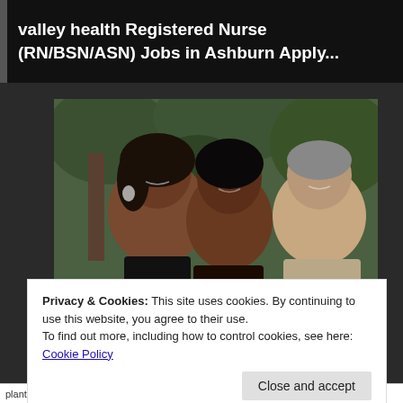valley health Registered Nurse (RN/BSN/ASN) Jobs in Ashburn Apply...
[Figure (photo): Photo of three people smiling outdoors — a woman on the left, a young woman in the center, and an older man on the right, with trees in the background]
[Pics] Obama Turns 60 And This Is
Privacy & Cookies: This site uses cookies. By continuing to use this website, you agree to their use.
To find out more, including how to control cookies, see here:
Cookie Policy
Close and accept
plantbased diet, plantbasedliving, prednisone, vegan,